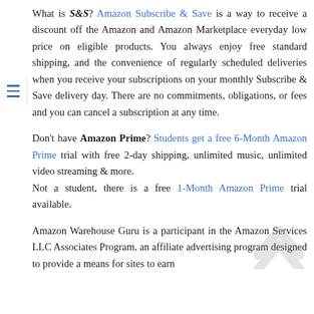What is S&S? Amazon Subscribe & Save is a way to receive a discount off the Amazon and Amazon Marketplace everyday low price on eligible products. You always enjoy free standard shipping, and the convenience of regularly scheduled deliveries when you receive your subscriptions on your monthly Subscribe & Save delivery day. There are no commitments, obligations, or fees and you can cancel a subscription at any time.
Don't have Amazon Prime? Students get a free 6-Month Amazon Prime trial with free 2-day shipping, unlimited music, unlimited video streaming & more. Not a student, there is a free 1-Month Amazon Prime trial available.
Amazon Warehouse Guru is a participant in the Amazon Services LLC Associates Program, an affiliate advertising program designed to provide a means for sites to earn